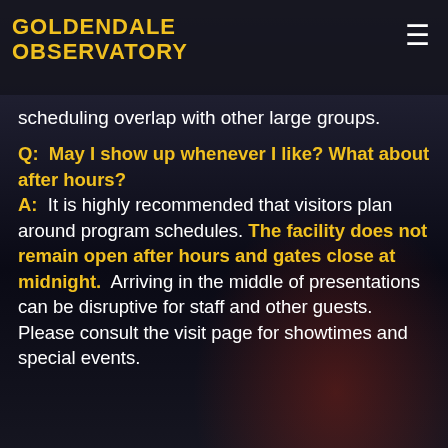GOLDENDALE OBSERVATORY
scheduling overlap with other large groups.
Q:  May I show up whenever I like? What about after hours?
A:  It is highly recommended that visitors plan around program schedules. The facility does not remain open after hours and gates close at midnight.  Arriving in the middle of presentations can be disruptive for staff and other guests.  Please consult the visit page for showtimes and special events.